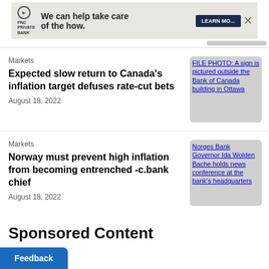[Figure (screenshot): PNC Private Bank advertisement banner with logo, text 'We can help take care of the how.' and LEARN MORE button]
Markets
Expected slow return to Canada's inflation target defuses rate-cut bets
August 18, 2022
[Figure (photo): FILE PHOTO: A sign is pictured outside the Bank of Canada building in Ottawa]
Markets
Norway must prevent high inflation from becoming entrenched -c.bank chief
August 18, 2022
[Figure (photo): Norges Bank Governor Ida Wolden Bache holds news conference at the bank's headquarters]
Sponsored Content
[Figure (logo): Dianomi logo]